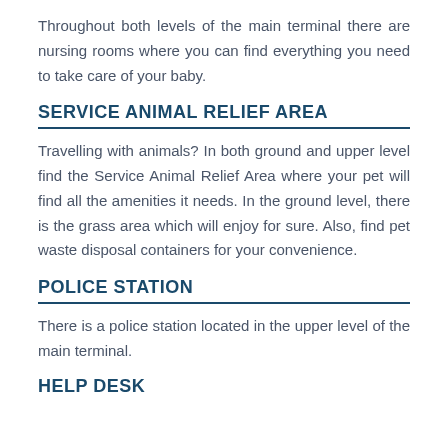Throughout both levels of the main terminal there are nursing rooms where you can find everything you need to take care of your baby.
SERVICE ANIMAL RELIEF AREA
Travelling with animals? In both ground and upper level find the Service Animal Relief Area where your pet will find all the amenities it needs. In the ground level, there is the grass area which will enjoy for sure. Also, find pet waste disposal containers for your convenience.
POLICE STATION
There is a police station located in the upper level of the main terminal.
HELP DESK